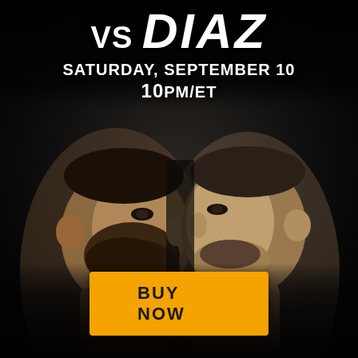vs DIAZ
SATURDAY, SEPTEMBER 10
10PM/ET
[Figure (photo): Two male MMA fighters facing each other in a promotional staredown pose against a dark background. The fighter on the left has a full beard and short dark hair; the fighter on the right has a short buzz cut. Both are shirtless.]
BUY NOW